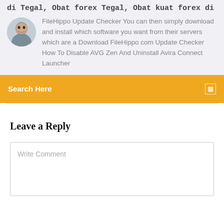di Tegal, Obat forex Tegal, Obat kuat forex di
FileHippo Update Checker You can then simply download and install which software you want from their servers which are a Download FileHippo com Update Checker How To Disable AVG Zen And Uninstall Avira Connect Launcher
Search Here
Leave a Reply
Write Comment